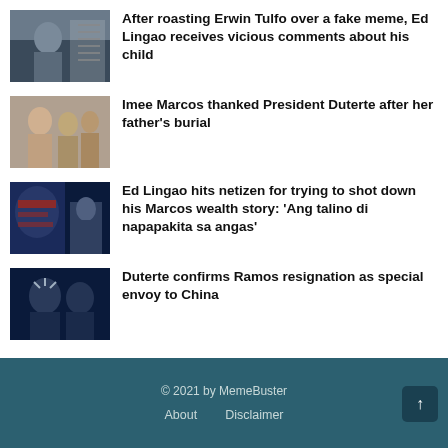[Figure (photo): Thumbnail photo of Ed Lingao with arms crossed]
After roasting Erwin Tulfo over a fake meme, Ed Lingao receives vicious comments about his child
[Figure (photo): Thumbnail photo of Imee Marcos with group of people]
Imee Marcos thanked President Duterte after her father's burial
[Figure (photo): Thumbnail photo showing a man at a news broadcast with Marcos image in background]
Ed Lingao hits netizen for trying to shot down his Marcos wealth story: 'Ang talino di napapakita sa angas'
[Figure (photo): Thumbnail photo of Duterte with Ramos in dark setting]
Duterte confirms Ramos resignation as special envoy to China
© 2021 by MemeBuster   About   Disclaimer